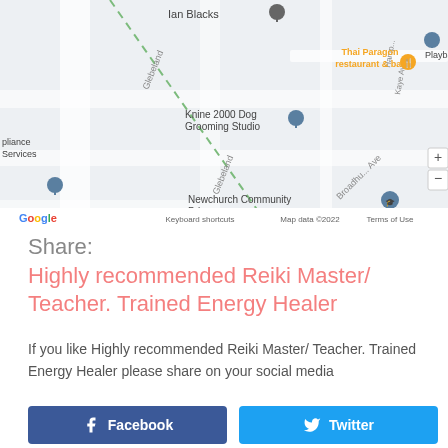[Figure (map): Google Maps screenshot showing Newchurch Community area with landmarks: Ian Blacks, Thai Paragon restaurant & bar, Playbackr, Knine 2000 Dog Grooming Studio, Newchurch Community Prin, with Glebeland road visible. Map data ©2022. Google logo bottom left.]
Share:
Highly recommended Reiki Master/ Teacher. Trained Energy Healer
If you like Highly recommended Reiki Master/ Teacher. Trained Energy Healer please share on your social media
Facebook
Twitter